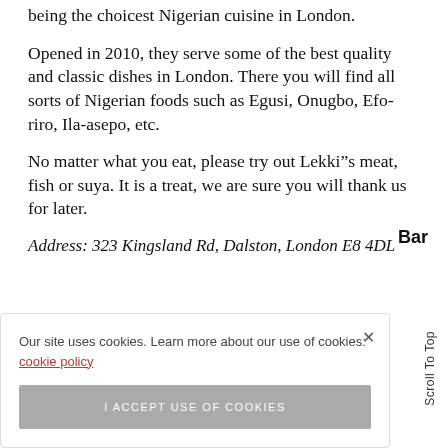being the choicest Nigerian cuisine in London.
Opened in 2010, they serve some of the best quality and classic dishes in London. There you will find all sorts of Nigerian foods such as Egusi, Onugbo, Efo-riro, Ila-asepo, etc.
No matter what you eat, please try out Lekki”s meat, fish or suya. It is a treat, we are sure you will thank us for later.
Address: 323 Kingsland Rd, Dalston, London E8 4DL
Bar
Our site uses cookies. Learn more about our use of cookies: cookie policy
I ACCEPT USE OF COOKIES
Scroll To Top